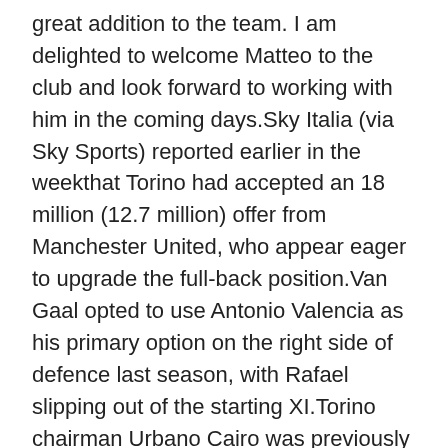great addition to the team. I am delighted to welcome Matteo to the club and look forward to working with him in the coming days.Sky Italia (via Sky Sports) reported earlier in the weekthat Torino had accepted an 18 million (12.7 million) offer from Manchester United, who appear eager to upgrade the full-back position.Van Gaal opted to use Antonio Valencia as his primary option on the right side of defence last season, with Rafael slipping out of the starting XI.Torino chairman Urbano Cairo was previously quoted by Rob Dawson of theManchester Evening Newsas saying Darmian's suitors had until Sunday, July 12, to make their move for the player:Everyone who arrives at Bormio will stay for the rest of the year.Extra time has begun and on Sunday there will be the final whistle, that is the deadline.Three concrete offers have arrived for Darmian, but out of respect for those who made the offers I won't reveal